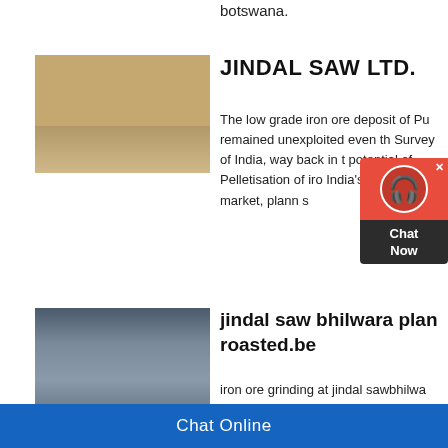botswana.
[Figure (photo): Aerial view of an open-pit mine or quarry with earth-moving equipment and dust, arid terrain.]
JINDAL SAW LTD.
The low grade iron ore deposit of Pu remained unexploited even th Survey of India, way back in t potential of Pelletisation of iro India's Tubular market, plann s
[Figure (photo): Industrial plant with large machinery, tanks, and scaffolding; appears to be a mineral processing or steel plant.]
jindal saw bhilwara plan roasted.be
iron ore grinding at jindal sawbhilwa address Jindal Saw Ltd in Bhilwara, Saw Ltd is a leading Manufacturer, S plant, pellet plant, iron ore mining se India. Get Price; Jindal Saw USA L
Chat Online